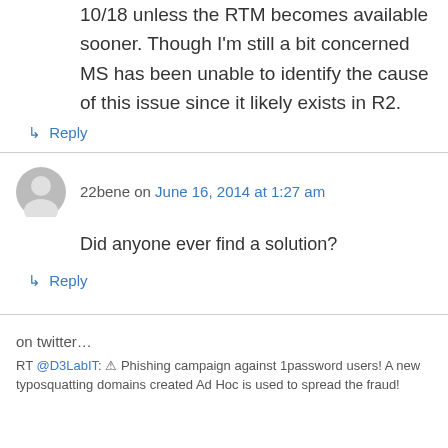10/18 unless the RTM becomes available sooner. Though I'm still a bit concerned MS has been unable to identify the cause of this issue since it likely exists in R2.
↳ Reply
22bene on June 16, 2014 at 1:27 am
Did anyone ever find a solution?
↳ Reply
on twitter…
RT @D3LabIT: ⚠ Phishing campaign against 1password users! A new typosquatting domains created Ad Hoc is used to spread the fraud!